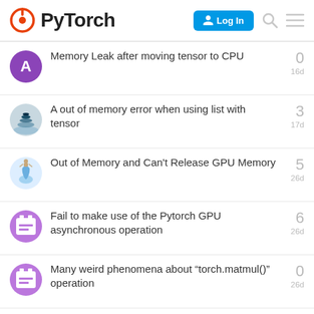PyTorch
Memory Leak after moving tensor to CPU
A out of memory error when using list with tensor
Out of Memory and Can’t Release GPU Memory
Fail to make use of the Pytorch GPU asynchronous operation
Many weird phenomena about “torch.matmul()” operation